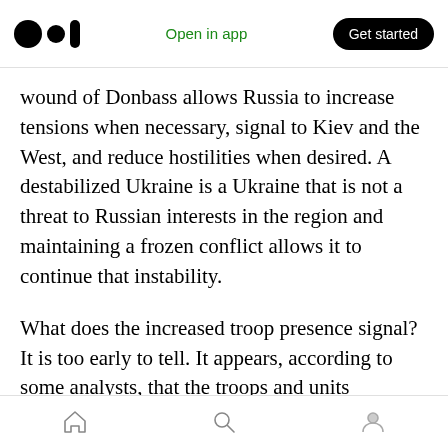Open in app | Get started
wound of Donbass allows Russia to increase tensions when necessary, signal to Kiev and the West, and reduce hostilities when desired. A destabilized Ukraine is a Ukraine that is not a threat to Russian interests in the region and maintaining a frozen conflict allows it to continue that instability.
What does the increased troop presence signal? It is too early to tell. It appears, according to some analysts, that the troops and units involved in the movement are outside of the normal rotation and atypical for an exercise. Does this
Home | Search | Profile